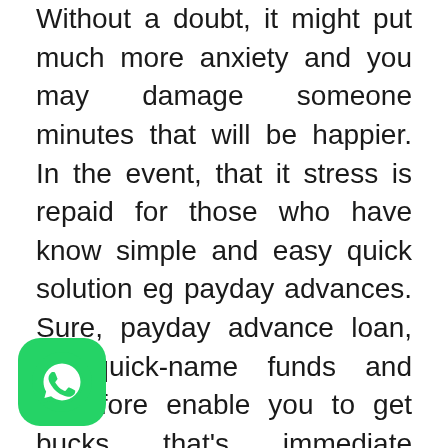Without a doubt, it might put much more anxiety and you may damage someone minutes that will be happier. In the event, that it stress is repaid for those who have know simple and easy quick solution eg payday advances. Sure, payday advance loan, its quick-name funds and therefore enable you to get bucks that's immediate anywhere if you're during the big you prefer from it. The latest most sensible thing is it that these fund is generally availed to settle payments, installments with other mandatory something. There particular teams that give these types of short-label finance and if your your self
[Figure (logo): WhatsApp logo icon — green rounded square with white phone handset]